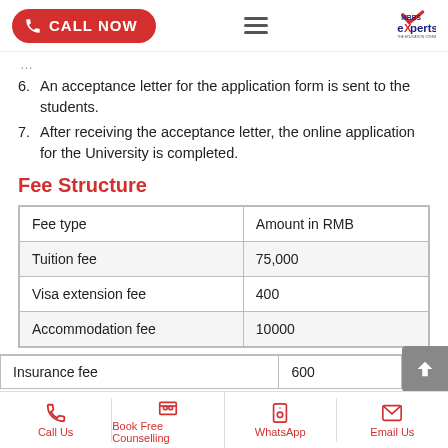CALL NOW | MBBS Experts
6. An acceptance letter for the application form is sent to the students.
7. After receiving the acceptance letter, the online application for the University is completed.
Fee Structure
| Fee type | Amount in RMB |
| --- | --- |
| Tuition fee | 75,000 |
| Visa extension fee | 400 |
| Accommodation fee | 10000 |
| Insurance fee | 600 |
Call Us | Book Free Counselling | WhatsApp | Email Us